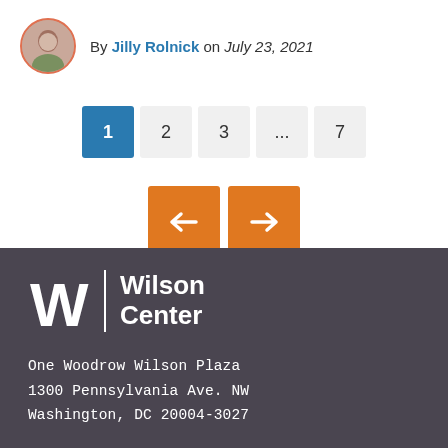By Jilly Rolnick on July 23, 2021
[Figure (infographic): Pagination widget showing pages 1 (active, blue), 2, 3, ..., 7 and two orange navigation arrow buttons (left and right)]
[Figure (logo): Wilson Center logo: stylized W with vertical bar and 'Wilson Center' text in white on dark background]
One Woodrow Wilson Plaza
1300 Pennsylvania Ave. NW
Washington, DC 20004-3027